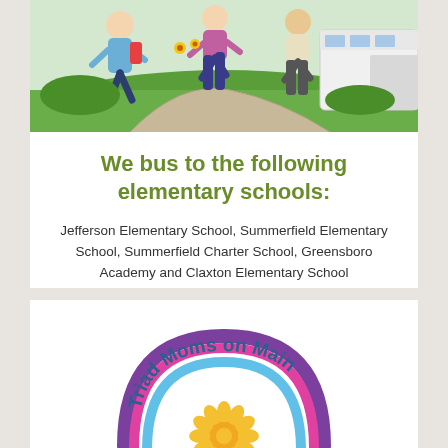[Figure (photo): Children running toward a school bus on a suburban sidewalk with green lawn in background]
We bus to the following elementary schools:
Jefferson Elementary School, Summerfield Elementary School, Summerfield Charter School, Greensboro Academy and Claxton Elementary School
[Figure (logo): Triad Moms on Main logo — circular rainbow arc design with sun/flower center and text]